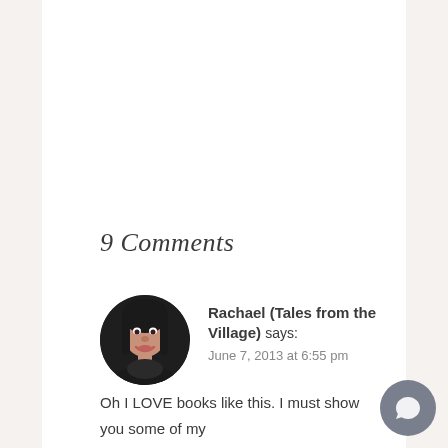9 Comments
Rachael (Tales from the Village) says:
June 7, 2013 at 6:55 pm
Oh I LOVE books like this. I must show you some of my collection when we meet up next week! xxx